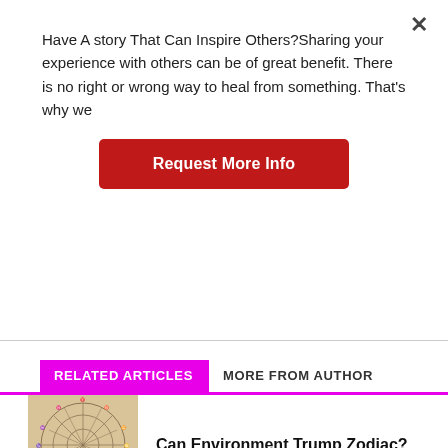Have A story That Can Inspire Others?Sharing your experience with others can be of great benefit. There is no right or wrong way to heal from something. That's why we
Request More Info
RELATED ARTICLES	MORE FROM AUTHOR
[Figure (illustration): Astrological zodiac wheel chart drawn on aged paper]
Can Environment Trump Zodiac?
[Figure (illustration): Red and blue yin-yang symbol]
5 Ways To Balance Your Chakras